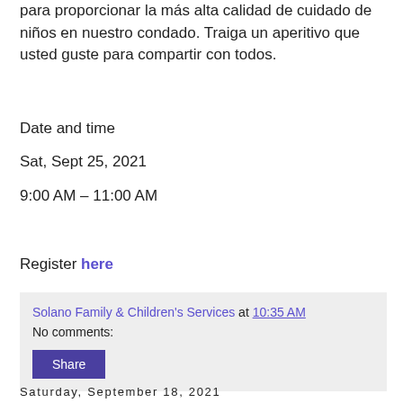para proporcionar la más alta calidad de cuidado de niños en nuestro condado. Traiga un aperitivo que usted guste para compartir con todos.
Date and time
Sat, Sept 25, 2021
9:00 AM – 11:00 AM
Register here
Solano Family & Children's Services at 10:35 AM
No comments:
Share
Saturday, September 18, 2021